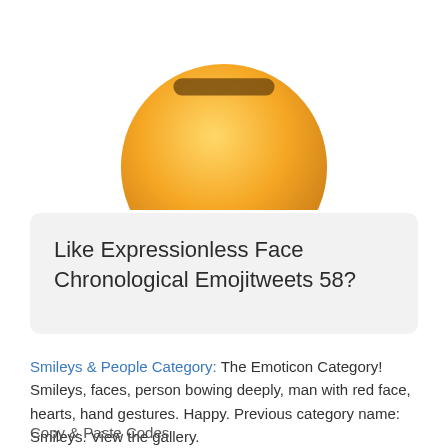[Figure (illustration): Bottom portion of a large expressionless face emoji — yellow/orange round face with a flat horizontal mouth bar, cropped so only the lower half of the face is visible]
Like Expressionless Face Chronological Emojitweets 58?
Smileys & People Category: The Emoticon Category! Smileys, faces, person bowing deeply, man with red face, hearts, hand gestures. Happy. Previous category name: Smileys. View the gallery.
Copy & Paste Codes